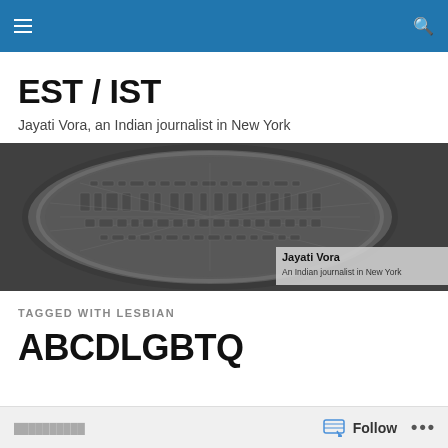EST / IST — navigation header bar
EST / IST
Jayati Vora, an Indian journalist in New York
[Figure (photo): Black and white photo of a manhole cover with 'MADE IN INDIA' text embossed on it, with an overlay box in the lower right showing 'Jayati Vora – An Indian journalist in New York']
TAGGED WITH LESBIAN
ABCDLGBTQ
Follow ...